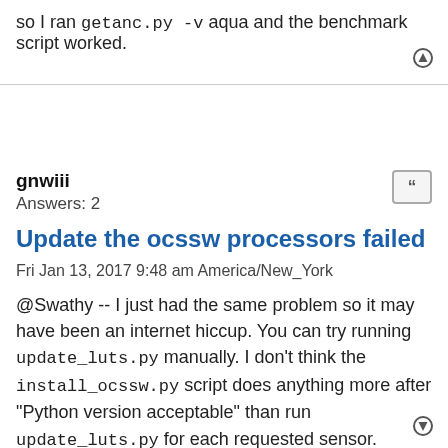so I ran getanc.py -v aqua and the benchmark script worked.
gnwiii
Answers: 2
Update the ocssw processors failed
Fri Jan 13, 2017 9:48 am America/New_York
@Swathy -- I just had the same problem so it may have been an internet hiccup. You can try running update_luts.py manually. I don't think the install_ocssw.py script does anything more after "Python version acceptable" than run update_luts.py for each requested sensor.